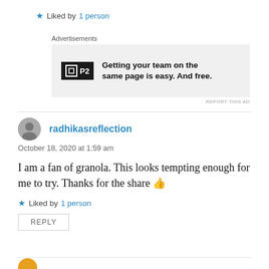★ Liked by 1 person
[Figure (screenshot): Advertisement banner for P2 product with logo and text 'Getting your team on the same page is easy. And free.']
radhikasreflection
October 18, 2020 at 1:59 am
I am a fan of granola. This looks tempting enough for me to try. Thanks for the share 👍
★ Liked by 1 person
REPLY